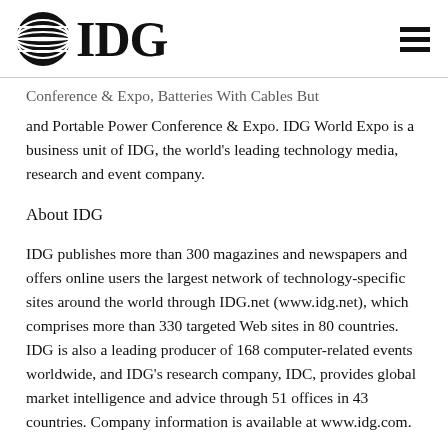IDG
Conference & Expo, Batteries With Cables But and Portable Power Conference & Expo. IDG World Expo is a business unit of IDG, the world's leading technology media, research and event company.
About IDG
IDG publishes more than 300 magazines and newspapers and offers online users the largest network of technology-specific sites around the world through IDG.net (www.idg.net), which comprises more than 330 targeted Web sites in 80 countries. IDG is also a leading producer of 168 computer-related events worldwide, and IDG's research company, IDC, provides global market intelligence and advice through 51 offices in 43 countries. Company information is available at www.idg.com.